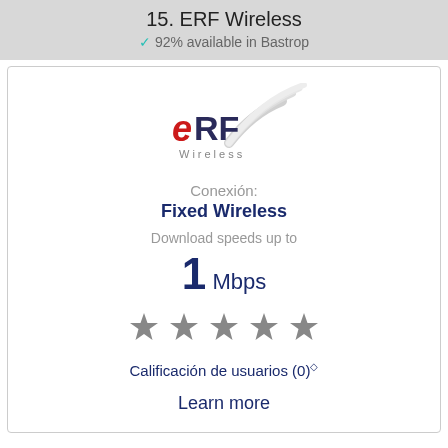15. ERF Wireless
✓ 92% available in Bastrop
[Figure (logo): ERF Wireless company logo with stylized signal waves in gray and red/dark lettering]
Conexión:
Fixed Wireless
Download speeds up to
1 Mbps
[Figure (other): Five star rating icons in gray]
Calificación de usuarios (0)◇
Learn more